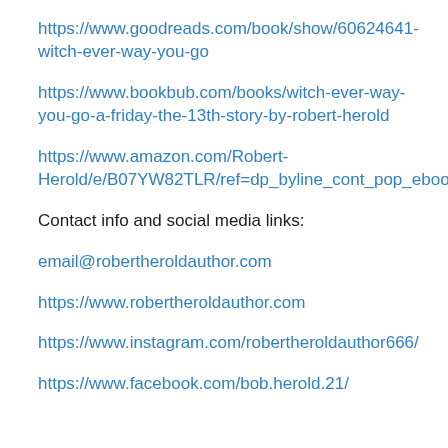https://www.goodreads.com/book/show/60624641-witch-ever-way-you-go
https://www.bookbub.com/books/witch-ever-way-you-go-a-friday-the-13th-story-by-robert-herold
https://www.amazon.com/Robert-Herold/e/B07YW82TLR/ref=dp_byline_cont_pop_ebooks_1
Contact info and social media links:
email@robertheroldauthor.com
https://www.robertheroldauthor.com
https://www.instagram.com/robertheroldauthor666/
https://www.facebook.com/bob.herold.21/